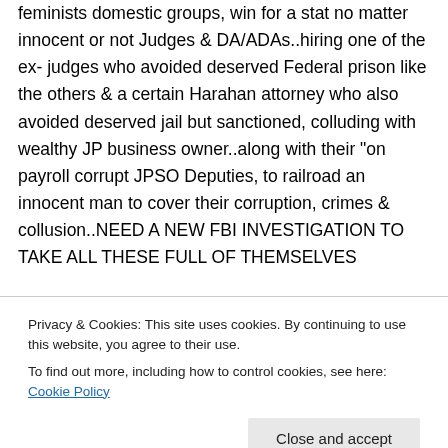feminists domestic groups, win for a stat no matter innocent or not Judges & DA/ADAs..hiring one of the ex- judges who avoided deserved Federal prison like the others & a certain Harahan attorney who also avoided deserved jail but sanctioned, colluding with wealthy JP business owner..along with their "on payroll corrupt JPSO Deputies, to railroad an innocent man to cover their corruption, crimes & collusion..NEED A NEW FBI INVESTIGATION TO TAKE ALL THESE FULL OF THEMSELVES
Privacy & Cookies: This site uses cookies. By continuing to use this website, you agree to their use.
To find out more, including how to control cookies, see here: Cookie Policy
Close and accept
CITIZENS..ITS HAPPENING TO ALL OF